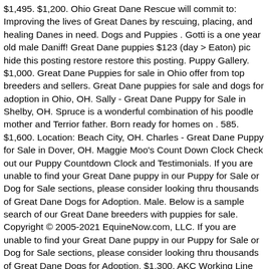$1,495. $1,200. Ohio Great Dane Rescue will commit to: Improving the lives of Great Danes by rescuing, placing, and healing Danes in need. Dogs and Puppies . Gotti is a one year old male Daniff! Great Dane puppies $123 (day > Eaton) pic hide this posting restore restore this posting. Puppy Gallery. $1,000. Great Dane Puppies for sale in Ohio offer from top breeders and sellers. Great Dane puppies for sale and dogs for adoption in Ohio, OH. Sally - Great Dane Puppy for Sale in Shelby, OH. Spruce is a wonderful combination of his poodle mother and Terrior father. Born ready for homes on . 585. $1,600. Location: Beach City, OH. Charles - Great Dane Puppy for Sale in Dover, OH. Maggie Moo's Count Down Clock Check out our Puppy Countdown Clock and Testimonials. If you are unable to find your Great Dane puppy in our Puppy for Sale or Dog for Sale sections, please consider looking thru thousands of Great Dane Dogs for Adoption. Male. Below is a sample search of our Great Dane breeders with puppies for sale. Copyright © 2005-2021 EquineNow.com, LLC. If you are unable to find your Great Dane puppy in our Puppy for Sale or Dog for Sale sections, please consider looking thru thousands of Great Dane Dogs for Adoption. $1,300. AKC Working Line German Shepherd in Saylorsburg. We are pleased to market,10 precious and beautiful Saint Dane infants! From there you can see photos of their pups, find detailed information on their web page and contact them by e-mail, phone and even get driving directions. Search Location: Raleigh, NC 27601 change. Female. Saint Bernard Puppies for Sale in OH Saint Bernards are the